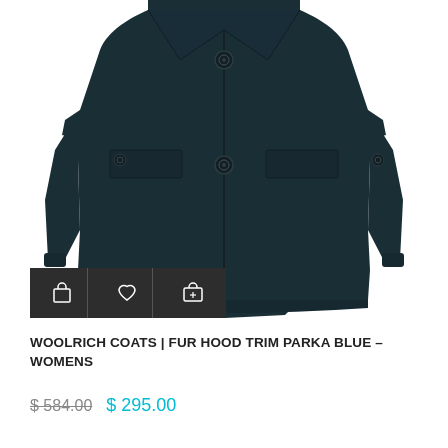[Figure (photo): Dark navy blue Woolrich fur hood trim parka coat, single-breasted with buttons and two flap pockets, shown from the front on a white background. Action icons (cart, heart, share) shown in a dark bar overlay at bottom left of image.]
WOOLRICH COATS | FUR HOOD TRIM PARKA BLUE – WOMENS
$ 584.00  $ 295.00